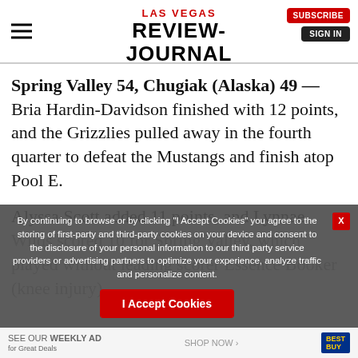LAS VEGAS REVIEW-JOURNAL
Spring Valley 54, Chugiak (Alaska) 49 — Bria Hardin-Davidson finished with 12 points, and the Grizzlies pulled away in the fourth quarter to defeat the Mustangs and finish atop Pool E.
Alyssa Scott added 11 points, and Lynnae Wilds scored 10 for Spring Valley, which played without leading scorer Essence Booker (knee injury).
By continuing to browse or by clicking "I Accept Cookies" you agree to the storing of first-party and third-party cookies on your device and consent to the disclosure of your personal information to our third party service providers or advertising partners to optimize your experience, analyze traffic and personalize content.